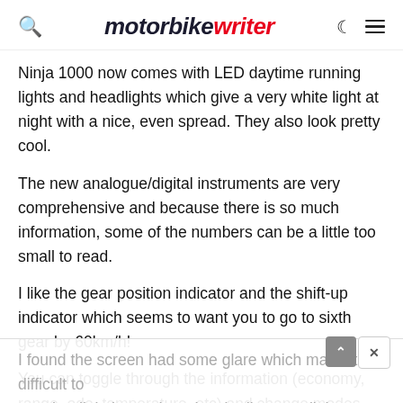motorbike writer
Ninja 1000 now comes with LED daytime running lights and headlights which give a very white light at night with a nice, even spread. They also look pretty cool.
The new analogue/digital instruments are very comprehensive and because there is so much information, some of the numbers can be a little too small to read.
I like the gear position indicator and the shift-up indicator which seems to want you to go to sixth gear by 60km/h!
You can toggle through the information (economy, range, odo, temperature, etc) and change modes and traction control via the handy toggle switch on the left handlebar.
I found the screen had some glare which made it difficult to see the digital speed readout in direct sunlight.